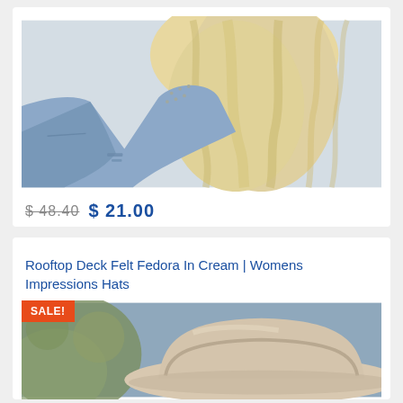[Figure (photo): Woman wearing a studded denim jacket with long blonde wavy hair, light grey background]
$ 48.40  $ 21.00
Rooftop Deck Felt Fedora In Cream | Womens Impressions Hats
[Figure (photo): Close-up of a cream/beige felt fedora hat with botanical/floral background, SALE! badge in orange top-left]